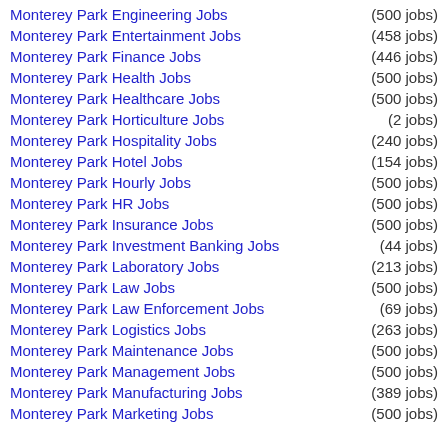Monterey Park Engineering Jobs (500 jobs)
Monterey Park Entertainment Jobs (458 jobs)
Monterey Park Finance Jobs (446 jobs)
Monterey Park Health Jobs (500 jobs)
Monterey Park Healthcare Jobs (500 jobs)
Monterey Park Horticulture Jobs (2 jobs)
Monterey Park Hospitality Jobs (240 jobs)
Monterey Park Hotel Jobs (154 jobs)
Monterey Park Hourly Jobs (500 jobs)
Monterey Park HR Jobs (500 jobs)
Monterey Park Insurance Jobs (500 jobs)
Monterey Park Investment Banking Jobs (44 jobs)
Monterey Park Laboratory Jobs (213 jobs)
Monterey Park Law Jobs (500 jobs)
Monterey Park Law Enforcement Jobs (69 jobs)
Monterey Park Logistics Jobs (263 jobs)
Monterey Park Maintenance Jobs (500 jobs)
Monterey Park Management Jobs (500 jobs)
Monterey Park Manufacturing Jobs (389 jobs)
Monterey Park Marketing Jobs (500 jobs)